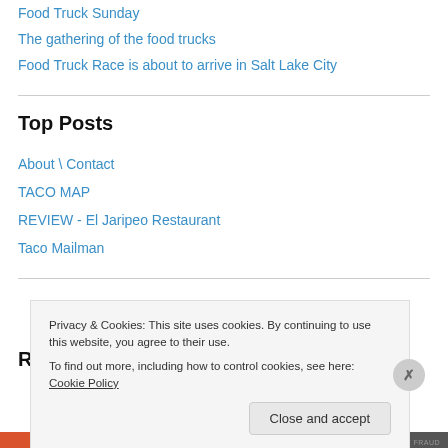Food Truck Sunday
The gathering of the food trucks
Food Truck Race is about to arrive in Salt Lake City
Top Posts
About \ Contact
TACO MAP
REVIEW - El Jaripeo Restaurant
Taco Mailman
Recent Comments
Privacy & Cookies: This site uses cookies. By continuing to use this website, you agree to their use.
To find out more, including how to control cookies, see here: Cookie Policy